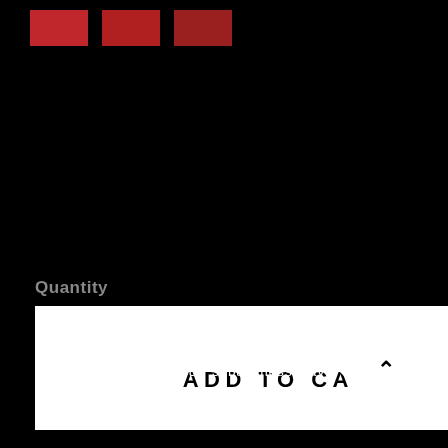[Figure (other): Three red color swatches displayed in a row]
Quantity
1   $80.00
ADD TO CART
Shipped within 1 to 5 business days
Free samples as a gift
Sublimated order in a box